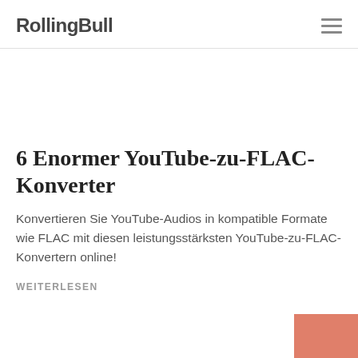RollingBull
6 Enormer YouTube-zu-FLAC-Konverter
Konvertieren Sie YouTube-Audios in kompatible Formate wie FLAC mit diesen leistungsstärksten YouTube-zu-FLAC-Konvertern online!
WEITERLESEN